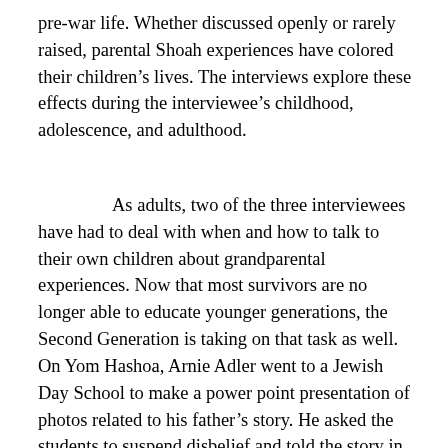pre-war life. Whether discussed openly or rarely raised, parental Shoah experiences have colored their children's lives. The interviews explore these effects during the interviewee's childhood, adolescence, and adulthood.
As adults, two of the three interviewees have had to deal with when and how to talk to their own children about grandparental experiences. Now that most survivors are no longer able to educate younger generations, the Second Generation is taking on that task as well. On Yom Hashoa, Arnie Adler went to a Jewish Day School to make a power point presentation of photos related to his father's story. He asked the students to suspend disbelief and told the story in the first person,